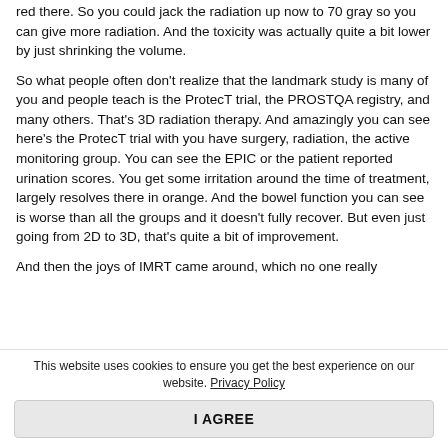red there. So you could jack the radiation up now to 70 gray so you can give more radiation. And the toxicity was actually quite a bit lower by just shrinking the volume.
So what people often don't realize that the landmark study is many of you and people teach is the ProtecT trial, the PROSTQA registry, and many others. That's 3D radiation therapy. And amazingly you can see here's the ProtecT trial with you have surgery, radiation, the active monitoring group. You can see the EPIC or the patient reported urination scores. You get some irritation around the time of treatment, largely resolves there in orange. And the bowel function you can see is worse than all the groups and it doesn't fully recover. But even just going from 2D to 3D, that's quite a bit of improvement.
And then the joys of IMRT came around, which no one really
This website uses cookies to ensure you get the best experience on our website. Privacy Policy
I AGREE